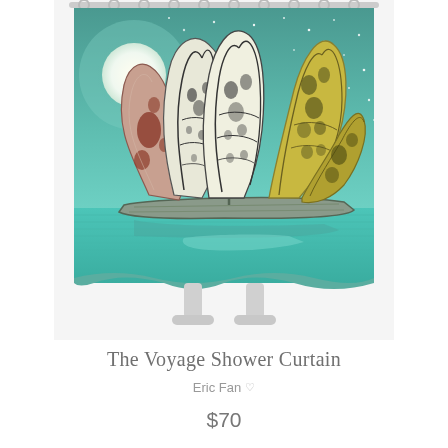[Figure (illustration): A shower curtain product photo displayed on a white shower curtain rod/stand. The curtain features an illustration called 'The Voyage' showing a sailing ship on a calm teal ocean under a moonlit teal-green sky. The ship's sails are made from large butterfly wings — left sails are white with black markings and red/maroon spotted wings, right sails are golden/olive colored butterfly wings. A large white full moon is visible in the upper left. Stars dot the background sky. The ocean shows a reflection of the ship below. The curtain hangs from a white rod with rings at top, and rests on white plastic feet at the bottom.]
The Voyage Shower Curtain
Eric Fan ♡
$70